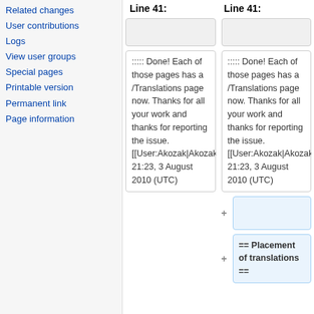Related changes
User contributions
Logs
View user groups
Special pages
Printable version
Permanent link
Page information
Line 41:
Line 41:
::::: Done! Each of those pages has a /Translations page now. Thanks for all your work and thanks for reporting the issue. [[User:Akozak|Akozak]] 21:23, 3 August 2010 (UTC)
::::: Done! Each of those pages has a /Translations page now. Thanks for all your work and thanks for reporting the issue. [[User:Akozak|Akozak]] 21:23, 3 August 2010 (UTC)
+
+ == Placement of translations ==